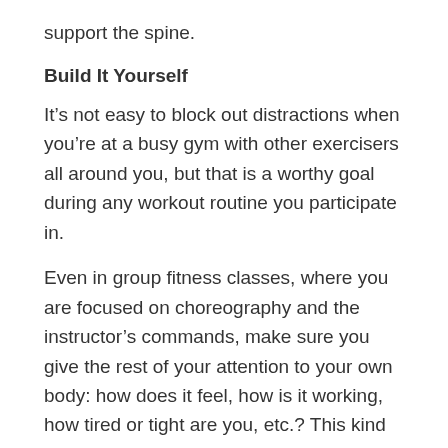support the spine.
Build It Yourself
It’s not easy to block out distractions when you’re at a busy gym with other exercisers all around you, but that is a worthy goal during any workout routine you participate in.
Even in group fitness classes, where you are focused on choreography and the instructor’s commands, make sure you give the rest of your attention to your own body: how does it feel, how is it working, how tired or tight are you, etc.? This kind of mental check is useful during all your gym time. It will help you avoid distractions like comparing your performance to others or worrying